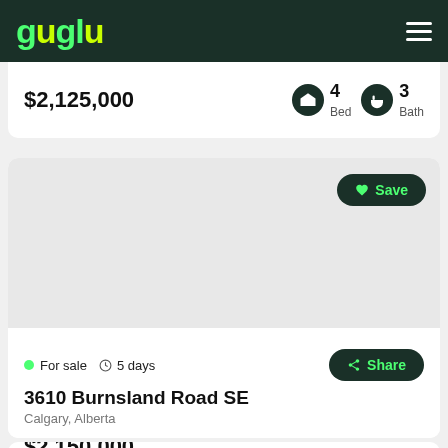[Figure (logo): Guglu real estate app logo in green and yellow on dark green header]
$2,125,000  4 Bed  3 Bath
[Figure (photo): Real estate listing card for 3610 Burnsland Road SE with Save button]
For sale  5 days
3610 Burnsland Road SE
Calgary, Alberta
$2,150,000  0 Bed  0 Bath